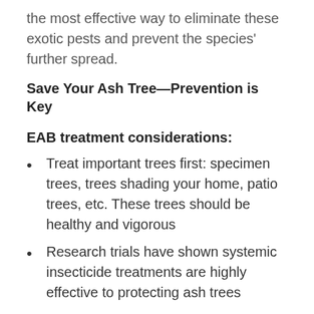the most effective way to eliminate these exotic pests and prevent the species' further spread.
Save Your Ash Tree—Prevention is Key
EAB treatment considerations:
Treat important trees first: specimen trees, trees shading your home, patio trees, etc. These trees should be healthy and vigorous
Research trials have shown systemic insecticide treatments are highly effective to protecting ash trees
Preventively treating your tree is the defense against EAB